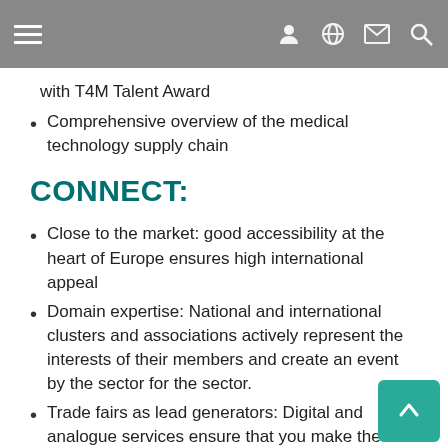Navigation header with hamburger menu and icons
with T4M Talent Award
Comprehensive overview of the medical technology supply chain
CONNECT:
Close to the market: good accessibility at the heart of Europe ensures high international appeal
Domain expertise: National and international clusters and associations actively represent the interests of their members and create an event by the sector for the sector.
Trade fairs as lead generators: Digital and analogue services ensure that you make the right contacts